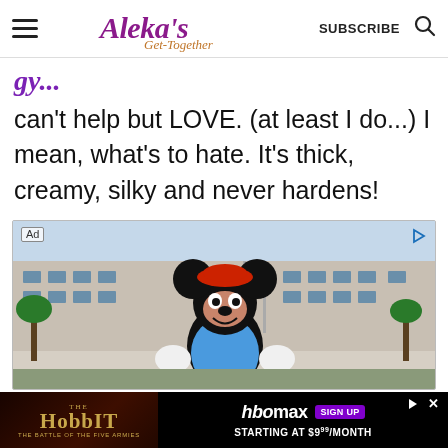Aleka's Get-Together — SUBSCRIBE
can't help but LOVE. (at least I do...) I mean, what's to hate. It's thick, creamy, silky and never hardens!
[Figure (photo): Advertisement showing Mickey Mouse character in colorful costume in front of a large hotel building, with 'Ad' label in top-left corner.]
[Figure (photo): Bottom banner advertisement for The Hobbit: The Battle of the Five Armies on HBO Max, starting at $9.99/month with Sign Up button.]